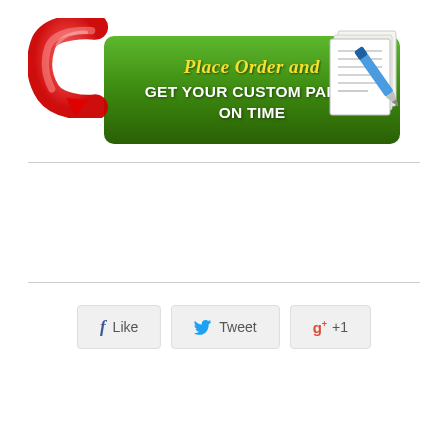[Figure (infographic): Advertisement banner: red C-arrow logo on left, green button with text 'Place Order and GET YOUR CUSTOM PAPER ON TIME', paper and pen illustration on right]
[Figure (infographic): Social sharing buttons: Facebook Like, Twitter Tweet, Google +1]